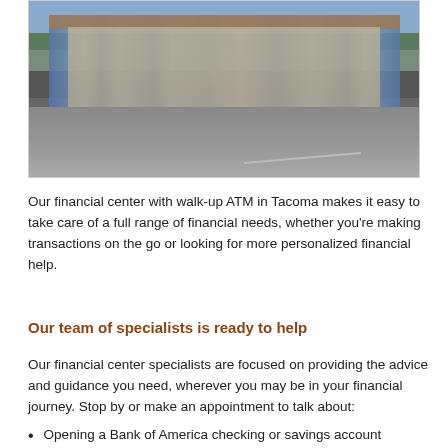[Figure (photo): Exterior photo of a Bank of America financial center building with large glass panels and a walk-up ATM in Tacoma, with a parking lot in the foreground.]
Our financial center with walk-up ATM in Tacoma makes it easy to take care of a full range of financial needs, whether you’re making transactions on the go or looking for more personalized financial help.
Our team of specialists is ready to help
Our financial center specialists are focused on providing the advice and guidance you need, wherever you may be in your financial journey. Stop by or make an appointment to talk about:
Opening a Bank of America checking or savings account